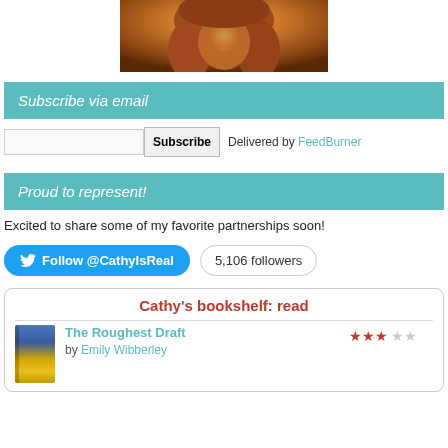[Figure (photo): Portrait photo of a woman with long reddish-brown hair, warm lighting]
Subscribe via email
Subscribe   Delivered by FeedBurner
Proud to represent!
Excited to share some of my favorite partnerships soon!
Follow @CathyIsReal   5,106 followers
Cathy's bookshelf: read
The Roughest Draft by Emily Wibberley — 3 stars